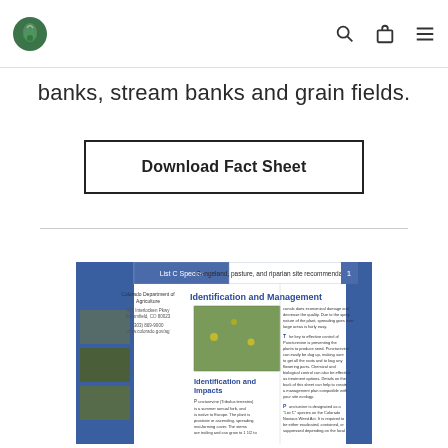[Navigation bar with logo and icons]
banks, stream banks and grain fields.
Download Fact Sheet
[Figure (screenshot): Fact sheet preview showing Puncturevine (Tribulus terrestris) identification and management document from Colorado Department of Agriculture, List C Species, Rangeland/pasture/riparian recommendations.]